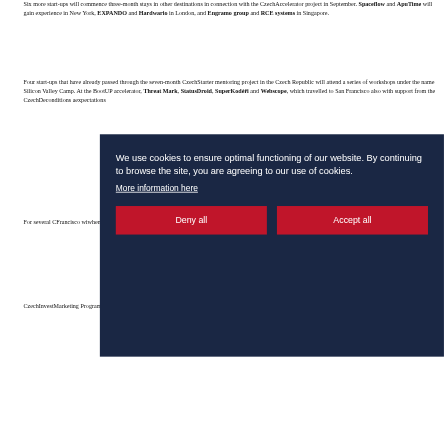Six more start-ups will commence three-month stays in other destinations in connection with the CzechAccelerator project in September. Spaceflow and ApuTime will gain experience in New York, EXPANDO and Hardwario in London, and Engramo group and RCE systems in Singapore.
Four start-ups that have already passed through the seven-month CzechStarter mentoring project in the Czech Republic will attend a series of workshops under the name Silicon Valley Camp. At the BootUP accelerator, Threat Mark, StatusDroid, SuperKodéři and Webscope, which travelled to San Francisco also with support from the CzechDe... conditions a... expectations...
For several C... Francisco wi... when they w... in front of an... potential futu...
CzechInvest... Marketing Programme, Priority Asia 2... Development of Business...
[Figure (other): Cookie consent overlay on dark navy background with text: 'We use cookies to ensure optimal functioning of our website. By continuing to browse the site, you are agreeing to our use of cookies.' with a 'More information here' link and two buttons: 'Deny all' and 'Accept all']